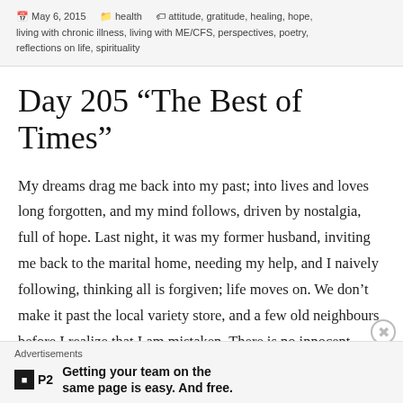May 6, 2015   health   attitude, gratitude, healing, hope, living with chronic illness, living with ME/CFS, perspectives, poetry, reflections on life, spirituality
Day 205 “The Best of Times”
My dreams drag me back into my past; into lives and loves long forgotten, and my mind follows, driven by nostalgia, full of hope. Last night, it was my former husband, inviting me back to the marital home, needing my help, and I naively following, thinking all is forgiven; life moves on. We don’t make it past the local variety store, and a few old neighbours before I realize that I am mistaken. There is no innocent intent here, only an attempt to use me once again, and the rage
Advertisements
Getting your team on the same page is easy. And free.